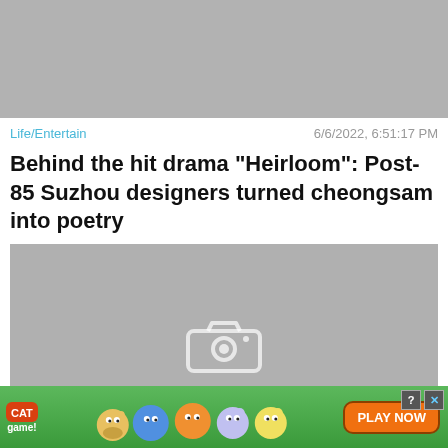[Figure (photo): Top banner image placeholder (gray rectangle)]
Life/Entertain
6/6/2022, 6:51:17 PM
Behind the hit drama "Heirloom": Post-85 Suzhou designers turned cheongsam into poetry
[Figure (photo): NO IMAGE placeholder with camera icon on gray background]
News/Politics
5/22/2022, 1:5...
Close X
[Figure (other): Cat Game advertisement banner with cartoon characters and PLAY NOW button]